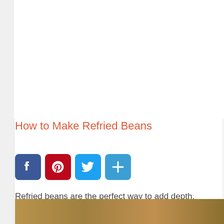How to Make Refried Beans
[Figure (infographic): Social media share buttons: Facebook (blue), Pinterest (red), Twitter (blue), Share/Add (blue)]
Refried beans are the perfect way to add depth, protein and lots of flavor into a burrito, topped on rice, or even on toast.
[Figure (photo): A photo of refried beans, partially visible at the bottom of the page]